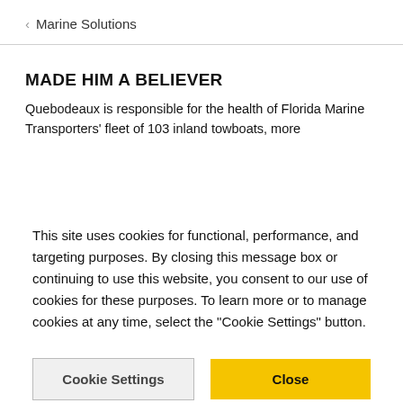< Marine Solutions
MADE HIM A BELIEVER
Quebodeaux is responsible for the health of Florida Marine Transporters' fleet of 103 inland towboats, more
This site uses cookies for functional, performance, and targeting purposes. By closing this message box or continuing to use this website, you consent to our use of cookies for these purposes. To learn more or to manage cookies at any time, select the "Cookie Settings" button.